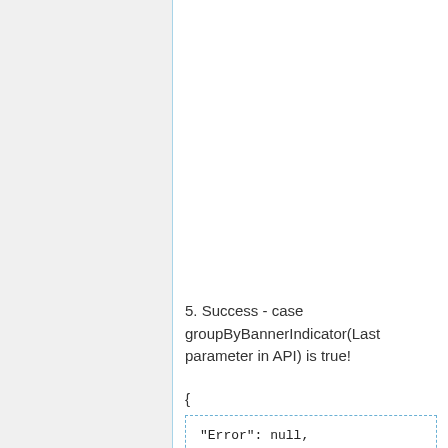5. Success - case groupByBannerIndicator(Last parameter in API) is true!
{
"Error": null,
"ErrorCode": 0,
"data": [
    {
        "BannerName": "",
        "campaign_id": "31231",